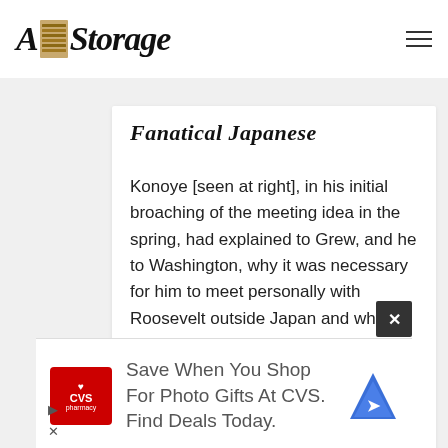[Figure (logo): A-Storage website logo with stylized text and stacked books/storage image between letters A and Storage]
Fanatical Japanese
Konoye [seen at right], in his initial broaching of the meeting idea in the spring, had explained to Grew, and he to Washington, why it was necessary for him to meet personally with Roosevelt outside Japan and why he would be able to propose terms at such a meeting which he could never propose through diplomatic channels. If he had said he was to use such channels to provide the
[Figure (screenshot): CVS Pharmacy advertisement: Save When You Shop For Photo Gifts At CVS. Find Deals Today.]